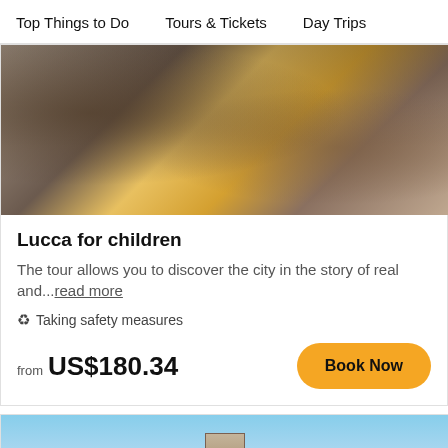Top Things to Do    Tours & Tickets    Day Trips
[Figure (photo): Photo of people on a tour, a girl in yellow dress with braids visible in foreground]
Lucca for children
The tour allows you to discover the city in the story of real and...read more
Taking safety measures
from US$180.34
[Figure (photo): Photo of a medieval tower (bell tower) in Lucca against a bright blue sky, with old buildings on the left]